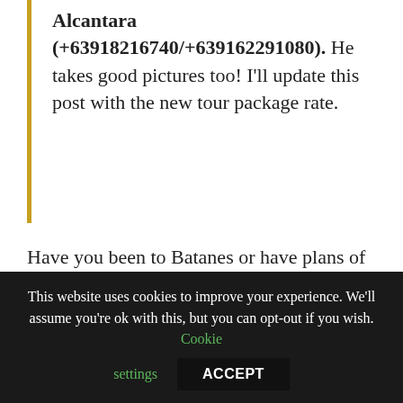Alcantara (+63918216740/+639162291080). He takes good pictures too! I'll update this post with the new tour package rate.
Have you been to Batanes or have plans of visiting this lovely paradise? Make sure to pursue that trip! 😀
Share this:
Facebook
Twitter
Print
LinkedIn
Email
Tumblr
Pinterest
This website uses cookies to improve your experience. We'll assume you're ok with this, but you can opt-out if you wish. Cookie settings ACCEPT